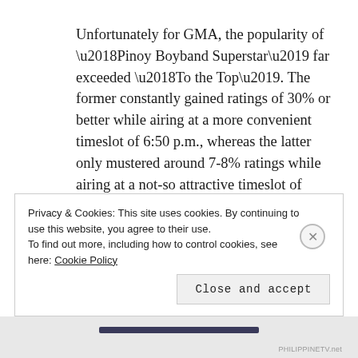Unfortunately for GMA, the popularity of ‘Pinoy Boyband Superstar’ far exceeded ‘To the Top’. The former constantly gained ratings of 30% or better while airing at a more convenient timeslot of 6:50 p.m., whereas the latter only mustered around 7-8% ratings while airing at a not-so attractive timeslot of 9:45-10:00 p.m.
Privacy & Cookies: This site uses cookies. By continuing to use this website, you agree to their use. To find out more, including how to control cookies, see here: Cookie Policy